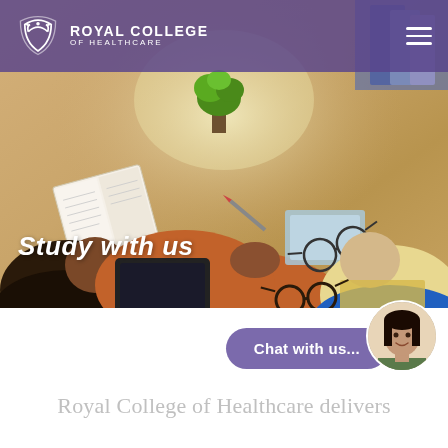[Figure (screenshot): Website screenshot of Royal College of Healthcare homepage. Shows a purple navigation bar at top with the Royal College of Healthcare logo on the left and a hamburger menu on the right. Below is a hero image showing students studying at a wooden table with books, a tablet, glasses, and a small plant. The text 'Study with us' appears in white bold italic over the image. At the bottom of the hero section, a purple rounded 'Chat with us...' button is shown alongside a circular avatar photo of a smiling woman. Below the hero, text reads 'Royal College of Healthcare delivers'.]
Royal College of Healthcare delivers